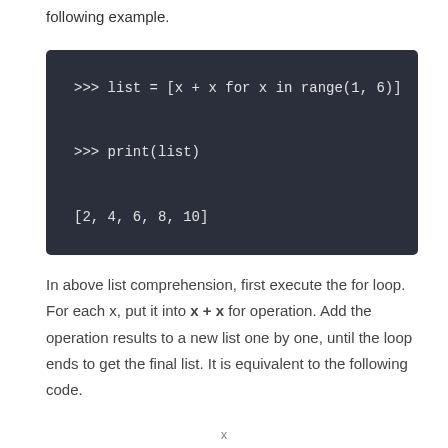following example.
[Figure (screenshot): Dark-themed Python REPL code block showing:
>>> list = [x + x for x in range(1, 6)]
>>> print(list)
[2, 4, 6, 8, 10]]
In above list comprehension, first execute the for loop. For each x, put it into x + x for operation. Add the operation results to a new list one by one, until the loop ends to get the final list. It is equivalent to the following code.
x